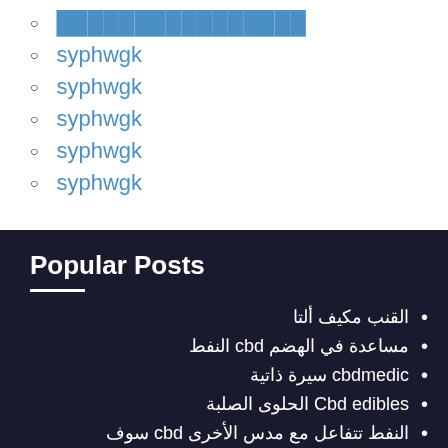████████████████
syphwgk
syphwgk
syphwgk
syphwgk
syphwgk
Popular Posts
القنب مكيف ألتا
مساعدة في الهضم cbd النفط
cbdmedic سيرة ذاتية
Cbd edibles الحلوى الصلبة
النفط تتفاعل مع مدس الأخرى cbd سوف